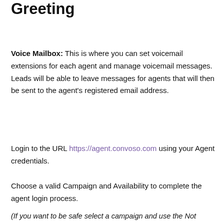How To Set Up A Voice Mailbox Greeting
Voice Mailbox: This is where you can set voicemail extensions for each agent and manage voicemail messages. Leads will be able to leave messages for agents that will then be sent to the agent's registered email address.
Login to the URL https://agent.convoso.com using your Agent credentials.
Choose a valid Campaign and Availability to complete the agent login process.
(If you want to be safe select a campaign and use the Not Ready